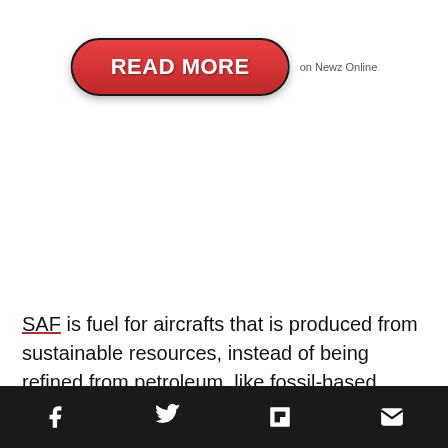[Figure (other): Red rounded rectangle button labeled READ MORE, with text 'on Newz Online' to the right]
SAF is fuel for aircrafts that is produced from sustainable resources, instead of being refined from petroleum, like fossil-based aviation fuel. SAF can significantly reduce CO2 emissions compared to fossil fuel, depending on the
[Figure (other): Dark share bar at bottom with Facebook, Twitter, Flipboard, and email icons]